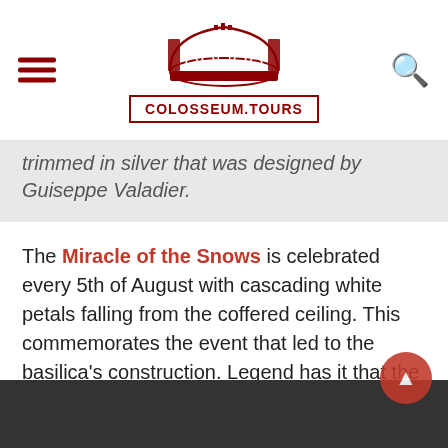[Figure (logo): Colosseum.Tours website header logo with red Colosseum illustration above a red-bordered box containing 'COLOSSEUM.TOURS' text, hamburger menu icon on left, search icon on right]
trimmed in silver that was designed by Guiseppe Valadier.
The Miracle of the Snows is celebrated every 5th of August with cascading white petals falling from the coffered ceiling. This commemorates the event that led to the basilica's construction. Legend has it that the Virgin Mary appeared in a dream to Pope Liberius and the Roman Patrician John. On August 5, 358, the Esquiline hill was covered in snow and Pope Liberius chose this spot for the church and traced its perimeter in the snow.